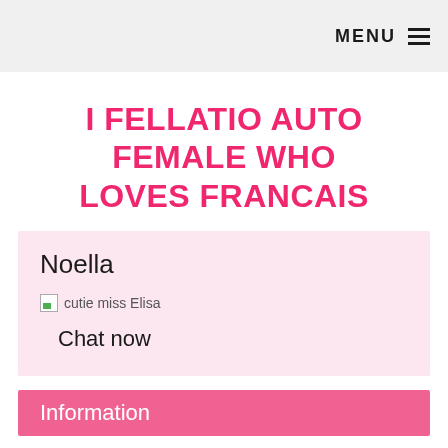MENU ☰
I FELLATIO AUTO FEMALE WHO LOVES FRANCAIS
Noella
[Figure (photo): Broken image placeholder with alt text 'cutie miss Elisa']
Chat now
Information
Years old: 30